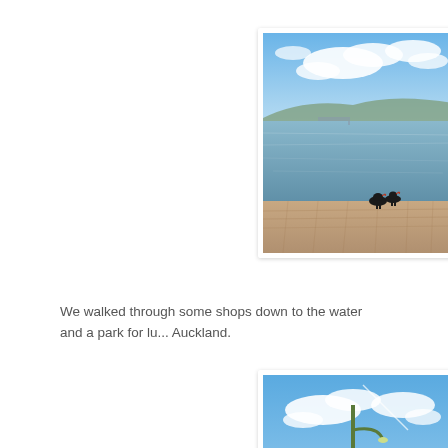[Figure (photo): Lakeside or waterfront scene with calm water, distant hills, cloudy blue sky, and two black swans near a paved promenade in the foreground.]
We walked through some shops down to the water and a park for lu... Auckland.
[Figure (photo): Waterfront area with blue sky, clouds, a tall street lamp, palm-like plants, and a white Art Deco style building visible on the right.]